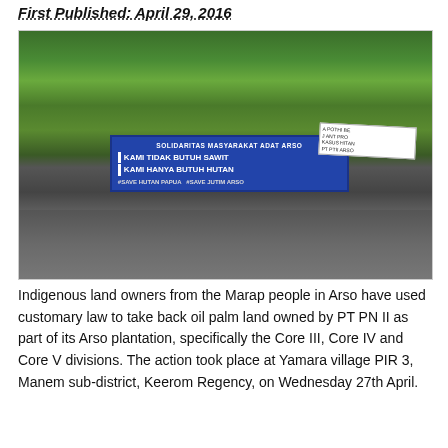First Published: April 29, 2016
[Figure (photo): Protesters from the Marap people in Arso walking on a road carrying banners and sticks, with palm trees in the background. A banner reads 'Solidaritas Masyarakat Adat Arso / Kami Tidak Butuh Sawit / Kami Hanya Butuh Hutan'. Watermark text reads 'suarapapua.com'.]
Indigenous land owners from the Marap people in Arso have used customary law to take back oil palm land owned by PT PN II as part of its Arso plantation, specifically the Core III, Core IV and Core V divisions. The action took place at Yamara village PIR 3, Manem sub-district, Keerom Regency, on Wednesday 27th April.